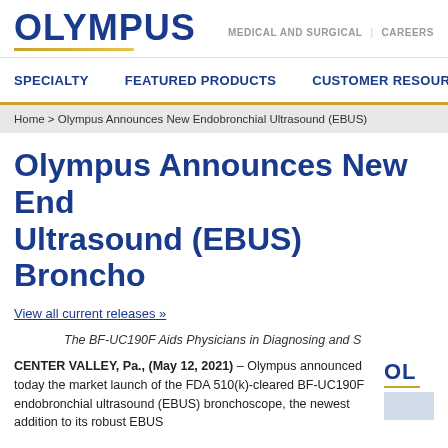OLYMPUS | MEDICAL AND SURGICAL | CAREERS
SPECIALTY | FEATURED PRODUCTS | CUSTOMER RESOURCES
Home > Olympus Announces New Endobronchial Ultrasound (EBUS)
Olympus Announces New Endobronchial Ultrasound (EBUS) Bronchoscope
View all current releases »
The BF-UC190F Aids Physicians in Diagnosing and S...
CENTER VALLEY, Pa., (May 12, 2021) – Olympus announced today the market launch of the FDA 510(k)-cleared BF-UC190F endobronchial ultrasound (EBUS) bronchoscope, the newest addition to its robust EBUS